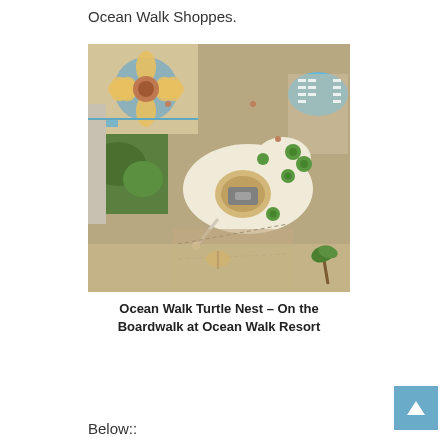Ocean Walk Shoppes.
[Figure (photo): Aerial view of Ocean Walk Turtle Nest structure on the boardwalk at Ocean Walk Resort, showing a large turtle-shaped building with green sea turtle decorations, a circular indoor area, and a sunflower mosaic nearby, with pool area and beach visible]
Ocean Walk Turtle Nest – On the Boardwalk at Ocean Walk Resort
Below::